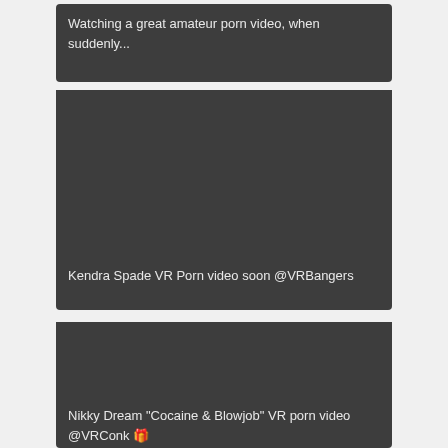Watching a great amateur porn video, when suddenly...
[Figure (photo): Dark placeholder image area for Kendra Spade VR Porn video]
Kendra Spade VR Porn video soon @VRBangers
[Figure (photo): Dark placeholder image area for Nikky Dream VR porn video]
Nikky Dream "Cocaine & Blowjob" VR porn video @VRConk 🎁